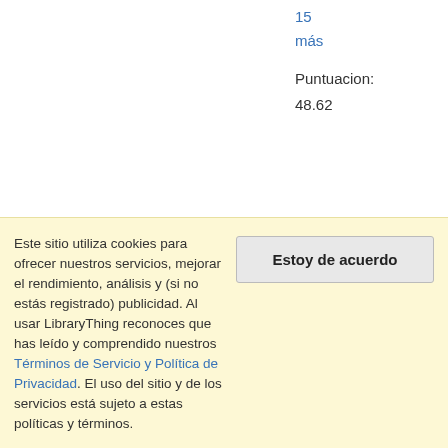15
más
Puntuacion:
48.62
61
[Figure (illustration): Book cover of Animal Farm by George Orwell, dark background with pink pig silhouette]
Rebelión en la granja por George
Listas: bruno (1), RantingReader 2nibos (4), kara.shamy (12), zainatu (12),
Este sitio utiliza cookies para ofrecer nuestros servicios, mejorar el rendimiento, análisis y (si no estás registrado) publicidad. Al usar LibraryThing reconoces que has leído y comprendido nuestros Términos de Servicio y Política de Privacidad. El uso del sitio y de los servicios está sujeto a estas políticas y términos.
Estoy de acuerdo